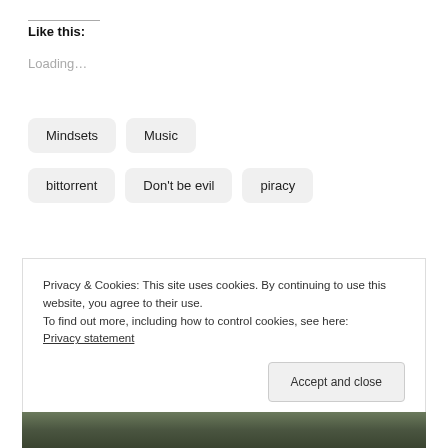Like this:
Loading...
Mindsets
Music
bittorrent
Don't be evil
piracy
Privacy & Cookies: This site uses cookies. By continuing to use this website, you agree to their use.
To find out more, including how to control cookies, see here: Privacy statement
Accept and close
[Figure (photo): Bottom portion of a photo showing people outdoors]